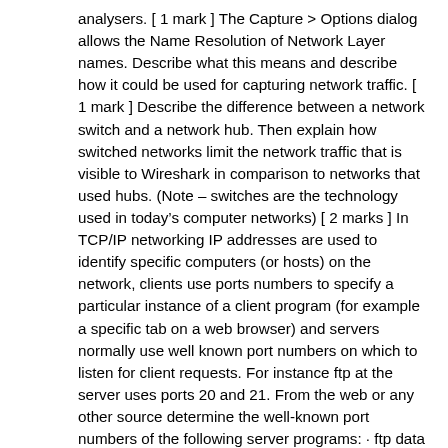analysers. [ 1 mark ] The Capture > Options dialog allows the Name Resolution of Network Layer names. Describe what this means and describe how it could be used for capturing network traffic. [ 1 mark ] Describe the difference between a network switch and a network hub. Then explain how switched networks limit the network traffic that is visible to Wireshark in comparison to networks that used hubs. (Note – switches are the technology used in today's computer networks) [ 2 marks ] In TCP/IP networking IP addresses are used to identify specific computers (or hosts) on the network, clients use ports numbers to specify a particular instance of a client program (for example a specific tab on a web browser) and servers normally use well known port numbers on which to listen for client requests. For instance ftp at the server uses ports 20 and 21. From the web or any other source determine the well-known port numbers of the following server programs: · ftp data · ftp control · http · NTP · ssh Also find the well know port numbers for 6 other network protocols and describe the function that each protocol performs. [ 2 marks ] Part 2 : Capture filters In this section of the assignment you are required to learn the syntax for creating Wireshark Capture Filters. Then document and use capture filters to capture specific network